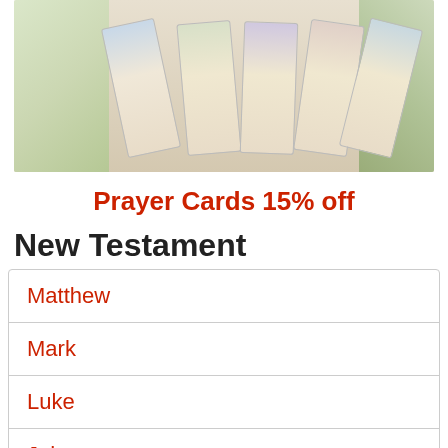[Figure (photo): Image of prayer cards fanned out with floral decorations on the sides on a beige background]
Prayer Cards 15% off
New Testament
Matthew
Mark
Luke
John
Acts of Apostles
Romans